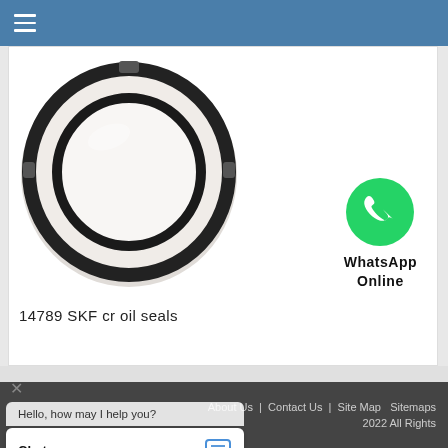Navigation menu header bar
[Figure (photo): Circular SKF cr oil seal ring shown from front, white/grey background with black rubber sealing ring]
14789 SKF cr oil seals
[Figure (illustration): WhatsApp green phone icon logo with label WhatsApp Online]
About Us | Contact Us | Site Map  Sitemaps
2022 All Rights
Hello, how may I help you?
Chat now